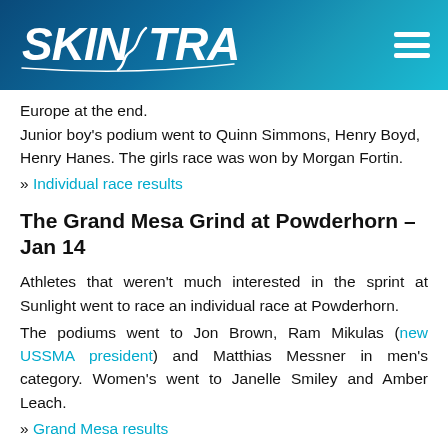SKINTRACK
Europe at the end.
Junior boy’s podium went to Quinn Simmons, Henry Boyd, Henry Hanes. The girls race was won by Morgan Fortin.
» Individual race results
The Grand Mesa Grind at Powderhorn – Jan 14
Athletes that weren’t much interested in the sprint at Sunlight went to race an individual race at Powderhorn.
The podiums went to Jon Brown, Ram Mikulas (new USSMA president) and Matthias Messner in men’s category. Women’s went to Janelle Smiley and Amber Leach.
» Grand Mesa results
International Race News